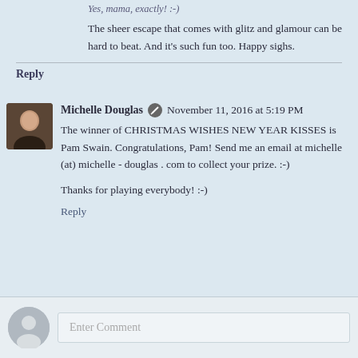The sheer escape that comes with glitz and glamour can be hard to beat. And it's such fun too. Happy sighs.
Reply
Michelle Douglas  November 11, 2016 at 5:19 PM
The winner of CHRISTMAS WISHES NEW YEAR KISSES is Pam Swain. Congratulations, Pam! Send me an email at michelle (at) michelle - douglas . com to collect your prize. :-)
Thanks for playing everybody! :-)
Reply
Enter Comment